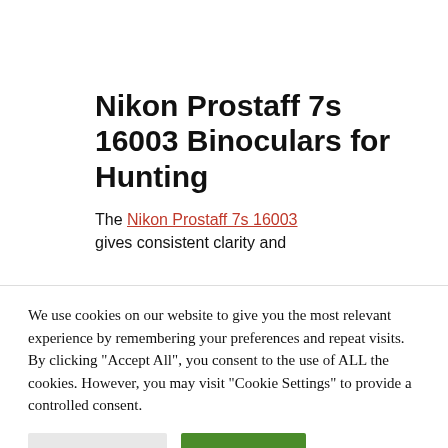Nikon Prostaff 7s 16003 Binoculars for Hunting
The Nikon Prostaff 7s 16003 gives consistent clarity and
We use cookies on our website to give you the most relevant experience by remembering your preferences and repeat visits. By clicking "Accept All", you consent to the use of ALL the cookies. However, you may visit "Cookie Settings" to provide a controlled consent.